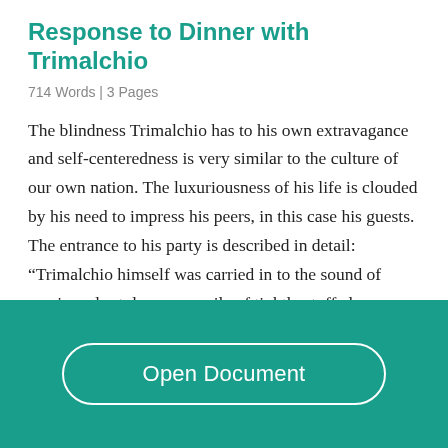Response to Dinner with Trimalchio
714 Words  | 3 Pages
The blindness Trimalchio has to his own extravagance and self-centeredness is very similar to the culture of our own nation. The luxuriousness of his life is clouded by his need to impress his peers, in this case his guests. The entrance to his party is described in detail: “Trimalchio himself was carried in to the sound of music and set down on a pile of tightly stuffed cushions” (811). His entrance alone shows this need to amaze his guests,
Open Document